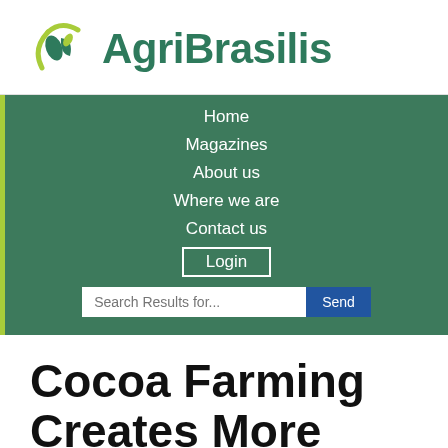[Figure (logo): AgriBrasilis logo with green leaf/crescent icon and bold teal text]
Home
Magazines
About us
Where we are
Contact us
Login
Search Results for...
Cocoa Farming Creates More Than